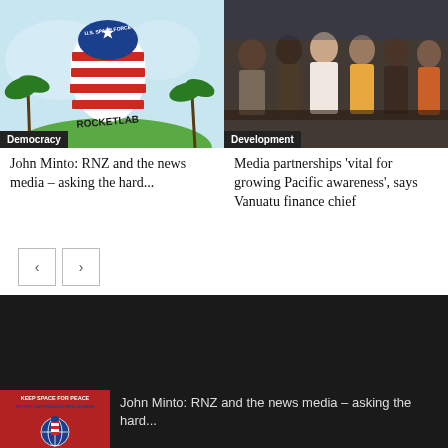[Figure (illustration): Illustration of a US Space Force rocket with red and white stripes near palm trees, labeled 'Rocketlab']
Democracy
[Figure (photo): Group photo of Pacific people in an office setting]
Development
John Minto: RNZ and the news media – asking the hard...
Media partnerships 'vital for growing Pacific awareness', says Vanuatu finance chief
Editor's Picks
[Figure (illustration): Keep Space for Peace – Rocket Lab drags NZ into US wars poster image with globe]
John Minto: RNZ and the news media – asking the hard...